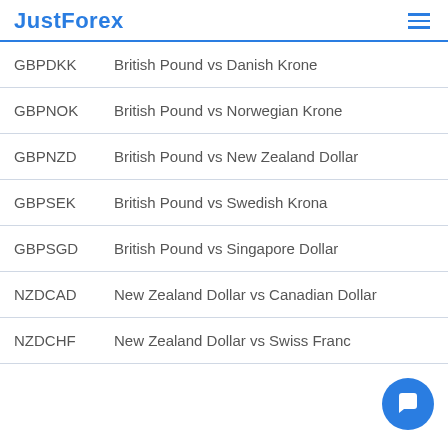JustForex
| Symbol | Description |
| --- | --- |
| GBPDKK | British Pound vs Danish Krone |
| GBPNOK | British Pound vs Norwegian Krone |
| GBPNZD | British Pound vs New Zealand Dollar |
| GBPSEK | British Pound vs Swedish Krona |
| GBPSGD | British Pound vs Singapore Dollar |
| NZDCAD | New Zealand Dollar vs Canadian Dollar |
| NZDCHF | New Zealand Dollar vs Swiss Franc |